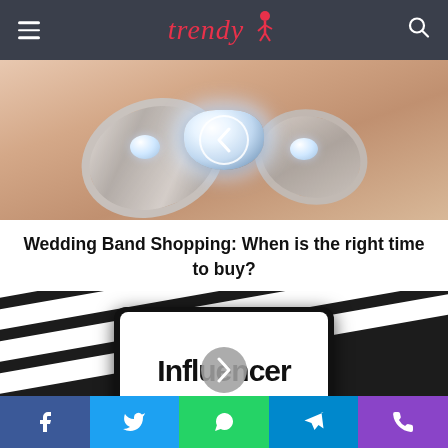Trendy
[Figure (photo): Close-up photo of a diamond wedding ring set being held between fingers, with a left navigation arrow overlay button]
Wedding Band Shopping: When is the right time to buy?
[Figure (photo): Photo of a smartphone displaying the word 'Influencer' on a white screen, placed on a black and white striped clapperboard background, with a right navigation arrow overlay button]
Social share bar with Facebook, Twitter, WhatsApp, Telegram, Phone icons